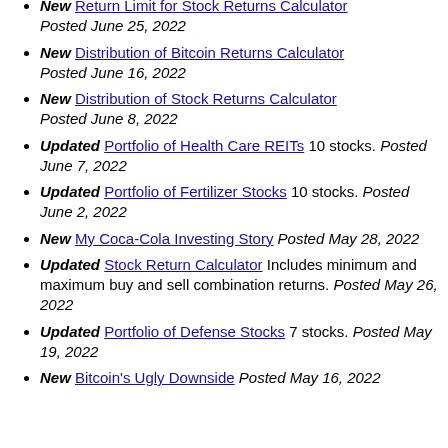New Return Limit for Stock Returns Calculator Posted June 25, 2022
New Distribution of Bitcoin Returns Calculator Posted June 16, 2022
New Distribution of Stock Returns Calculator Posted June 8, 2022
Updated Portfolio of Health Care REITs 10 stocks. Posted June 7, 2022
Updated Portfolio of Fertilizer Stocks 10 stocks. Posted June 2, 2022
New My Coca-Cola Investing Story Posted May 28, 2022
Updated Stock Return Calculator Includes minimum and maximum buy and sell combination returns. Posted May 26, 2022
Updated Portfolio of Defense Stocks 7 stocks. Posted May 19, 2022
New Bitcoin's Ugly Downside Posted May 16, 2022